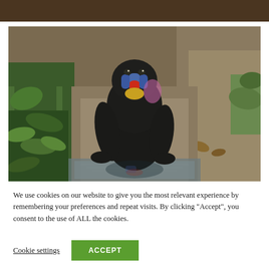[Figure (photo): Dark brown header bar at the top of the page]
[Figure (photo): A mandrill monkey with distinctive blue and red facial coloring walking toward the camera on a muddy forest path surrounded by green vegetation and fallen leaves. The monkey is reflected in a small puddle of water.]
We use cookies on our website to give you the most relevant experience by remembering your preferences and repeat visits. By clicking “Accept”, you consent to the use of ALL the cookies.
Cookie settings
ACCEPT